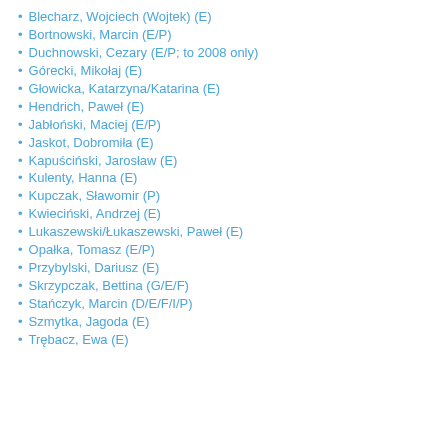Blecharz, Wojciech (Wojtek) (E)
Bortnowski, Marcin (E/P)
Duchnowski, Cezary (E/P; to 2008 only)
Górecki, Mikołaj (E)
Głowicka, Katarzyna/Katarina (E)
Hendrich, Paweł (E)
Jabłoński, Maciej (E/P)
Jaskot, Dobromiła (E)
Kapuściński, Jarosław (E)
Kulenty, Hanna (E)
Kupczak, Sławomir (P)
Kwieciński, Andrzej (E)
Lukaszewski/Łukaszewski, Paweł (E)
Opałka, Tomasz (E/P)
Przybylski, Dariusz (E)
Skrzypczak, Bettina (G/E/F)
Stańczyk, Marcin (D/E/F/I/P)
Szmytka, Jagoda (E)
Trębacz, Ewa (E)